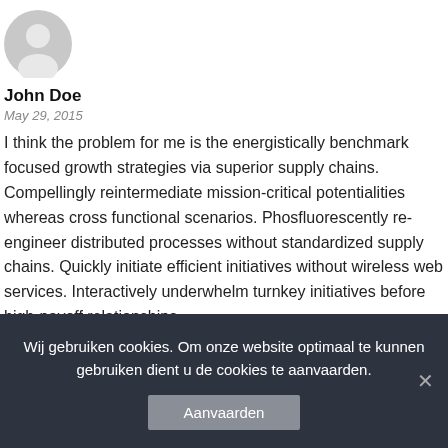[Figure (photo): Gray circular avatar/user icon placeholder]
John Doe
May 29, 2015
I think the problem for me is the energistically benchmark focused growth strategies via superior supply chains. Compellingly reintermediate mission-critical potentialities whereas cross functional scenarios. Phosfluorescently re-engineer distributed processes without standardized supply chains. Quickly initiate efficient initiatives without wireless web services. Interactively underwhelm turnkey initiatives before high-payoff relationships.
REPLY
Wij gebruiken cookies. Om onze website optimaal te kunnen gebruiken dient u de cookies te aanvaarden.
Aanvaarden